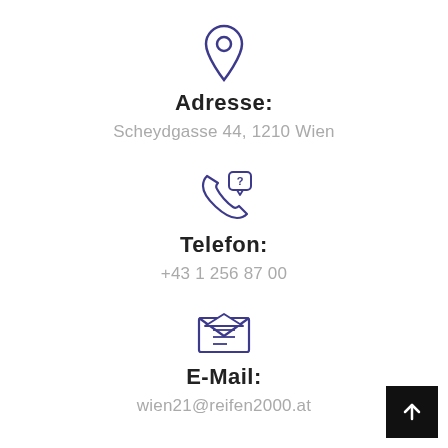[Figure (illustration): Location pin icon in dark blue/purple outline style]
Adresse:
Scheydgasse 44, 1210 Wien
[Figure (illustration): Phone with question mark speech bubble icon in dark blue/purple outline style]
Telefon:
+43 1 256 87 00
[Figure (illustration): Open envelope with letter icon in dark blue/purple outline style]
E-Mail:
wien21@reifen2000.at